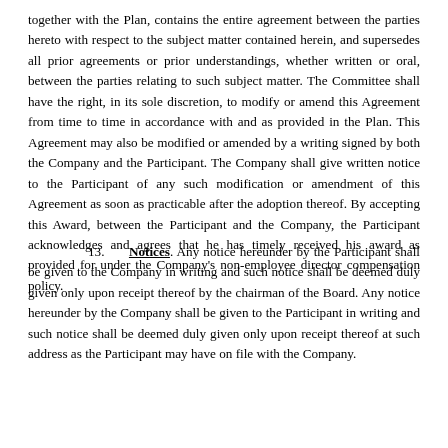together with the Plan, contains the entire agreement between the parties hereto with respect to the subject matter contained herein, and supersedes all prior agreements or prior understandings, whether written or oral, between the parties relating to such subject matter. The Committee shall have the right, in its sole discretion, to modify or amend this Agreement from time to time in accordance with and as provided in the Plan. This Agreement may also be modified or amended by a writing signed by both the Company and the Participant. The Company shall give written notice to the Participant of any such modification or amendment of this Agreement as soon as practicable after the adoption thereof. By accepting this Award, between the Participant and the Company, the Participant acknowledges and agrees that he has timely received his award as provided for under the Company's non-employee director compensation policy.
13. Notices. Any notice hereunder by the Participant shall be given to the Company in writing and such notice shall be deemed duly given only upon receipt thereof by the chairman of the Board. Any notice hereunder by the Company shall be given to the Participant in writing and such notice shall be deemed duly given only upon receipt thereof at such address as the Participant may have on file with the Company.